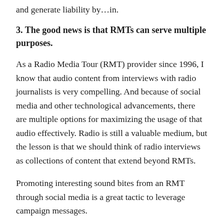and generate liability by…in.
3. The good news is that RMTs can serve multiple purposes.
As a Radio Media Tour (RMT) provider since 1996, I know that audio content from interviews with radio journalists is very compelling. And because of social media and other technological advancements, there are multiple options for maximizing the usage of that audio effectively. Radio is still a valuable medium, but the lesson is that we should think of radio interviews as collections of content that extend beyond RMTs.
Promoting interesting sound bites from an RMT through social media is a great tactic to leverage campaign messages.
RMTs fit well in the PR paradigm since nonprofits, corporations and other organizations want to reach…